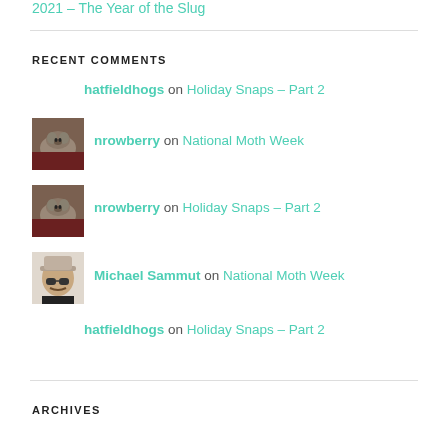2021 – The Year of the Slug
RECENT COMMENTS
hatfieldhogs on Holiday Snaps – Part 2
nrowberry on National Moth Week
nrowberry on Holiday Snaps – Part 2
Michael Sammut on National Moth Week
hatfieldhogs on Holiday Snaps – Part 2
ARCHIVES